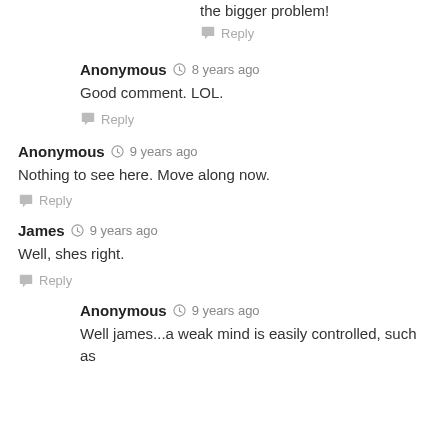the bigger problem!
Reply
Anonymous · 8 years ago
Good comment. LOL.
Reply
Anonymous · 9 years ago
Nothing to see here. Move along now.
Reply
James · 9 years ago
Well, shes right.
Reply
Anonymous · 9 years ago
Well james...a weak mind is easily controlled, such as